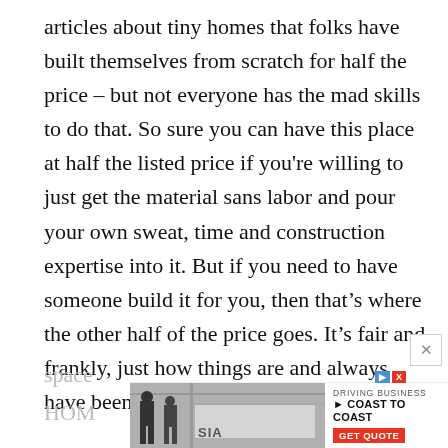articles about tiny homes that folks have built themselves from scratch for half the price – but not everyone has the mad skills to do that. So sure you can have this place at half the listed price if you're willing to just get the material sans labor and pour your own sweat, time and construction expertise into it. But if you need to have someone build it for you, then that's where the other half of the price goes. It's fair and frankly, just how things are and always have been.

Meanwhile, this is a nice unit – fairly standard, but some extra nice touches are the stairs vs. ladder, the
[Figure (photo): Advertisement banner with truck/delivery imagery, SIA logo, 'DRIVING BUSINESS COAST TO COAST' text, and 'GET QUOTE' CTA button. Partially overlaps the article text at the bottom of the page.]